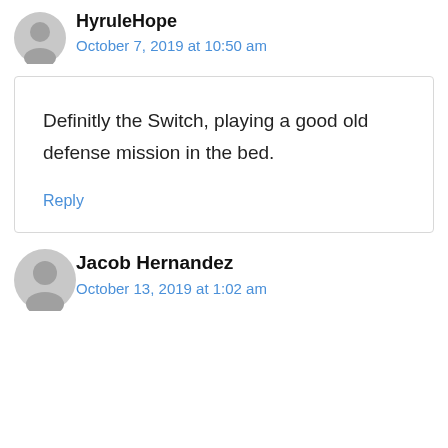HyruleHope
October 7, 2019 at 10:50 am
Definitly the Switch, playing a good old defense mission in the bed.
Reply
Jacob Hernandez
October 13, 2019 at 1:02 am